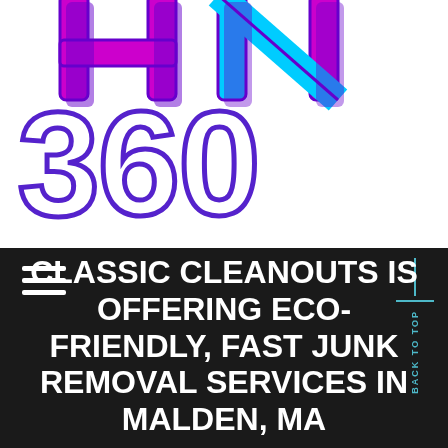[Figure (logo): HN360 logo — stylized letters HN in magenta/purple block style on top, and large outlined '360' in purple below, on white background]
CLASSIC CLEANOUTS IS OFFERING ECO-FRIENDLY, FAST JUNK REMOVAL SERVICES IN MALDEN, MA